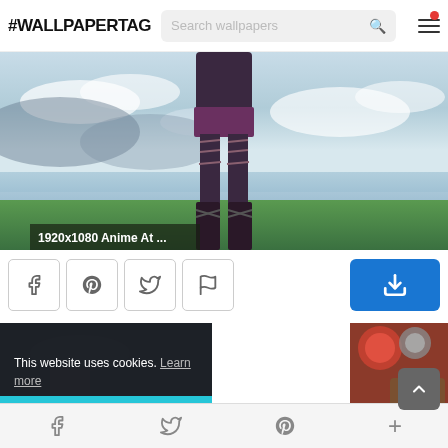#WALLPAPERTAG
[Figure (screenshot): Website screenshot of #WALLPAPERTAG wallpaper site showing an anime wallpaper of a figure standing in a field, with social share buttons, a cookie consent banner, and bottom navigation.]
1920x1080 Anime At ...
This website uses cookies. Learn more
Got it!